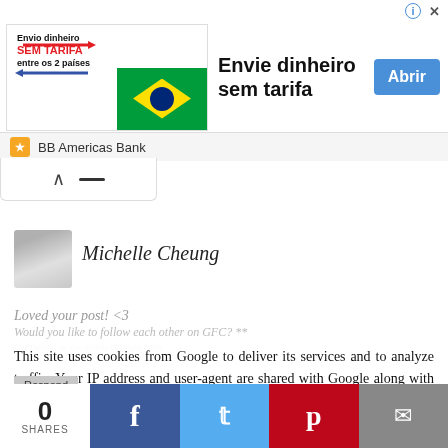[Figure (infographic): BB Americas Bank advertisement banner: 'Envie dinheiro sem tarifa' with Brazilian flag imagery, arrows, and 'Abrir' button]
[Figure (photo): Profile photo of Michelle Cheung, a young woman]
Michelle Cheung
Loved your post! <3
Would you like to follow each other on GFC? **
michelle | www.mishcheungx.com
This site uses cookies from Google to deliver its services and to analyze traffic. Your IP address and user-agent are shared with Google along with performance and security metrics to ensure quality of service, generate usage statistics, and to detect and address abuse.
Respond
0 SHARES